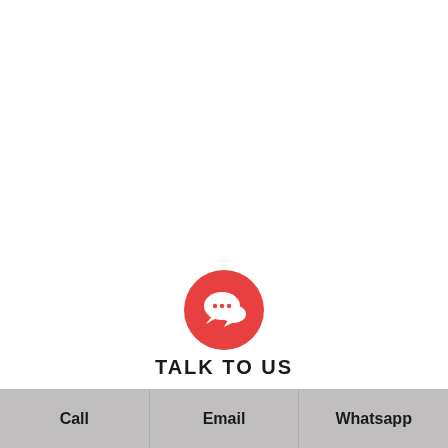[Figure (illustration): Red circle icon with white speech bubble / chat bubbles symbol in the center]
TALK TO US
Sales Queries : (91) 8750-9999-11
General Queries : (91) 8750-400-900
Call | Email | Whatsapp